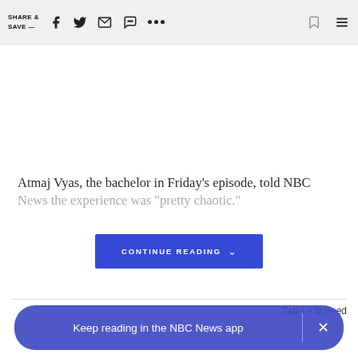SHARE & SAVE —
Atmaj Vyas, the bachelor in Friday's episode, told NBC News the experience was "pretty chaotic."
CONTINUE READING
Taboola Feed
Keep reading in the NBC News app